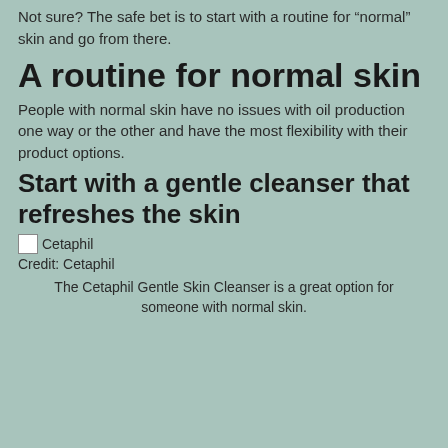Not sure? The safe bet is to start with a routine for “normal” skin and go from there.
A routine for normal skin
People with normal skin have no issues with oil production one way or the other and have the most flexibility with their product options.
Start with a gentle cleanser that refreshes the skin
[Figure (photo): Cetaphil product image placeholder with broken image icon and label 'Cetaphil']
Credit: Cetaphil
The Cetaphil Gentle Skin Cleanser is a great option for someone with normal skin.